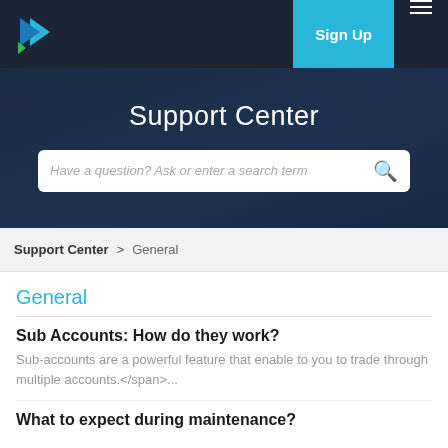Sign Up
Support Center
Have a question? Ask or enter a search term
Support Center > General
General
Sub Accounts: How do they work?
Sub-accounts are a powerful feature that enable to you to trade through multiple accounts.</span>...
What to expect during maintenance?